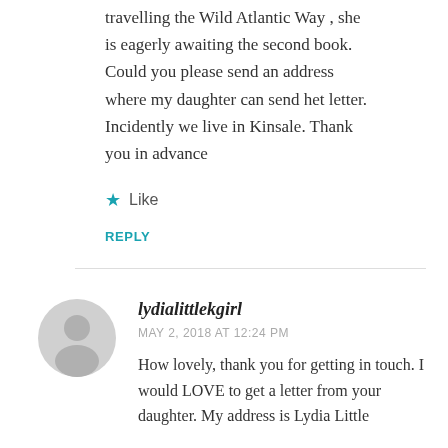travelling the Wild Atlantic Way , she is eagerly awaiting the second book. Could you please send an address where my daughter can send het letter. Incidently we live in Kinsale. Thank you in advance
Like
REPLY
lydialittlekgirl
MAY 2, 2018 AT 12:24 PM
How lovely, thank you for getting in touch. I would LOVE to get a letter from your daughter. My address is Lydia Little